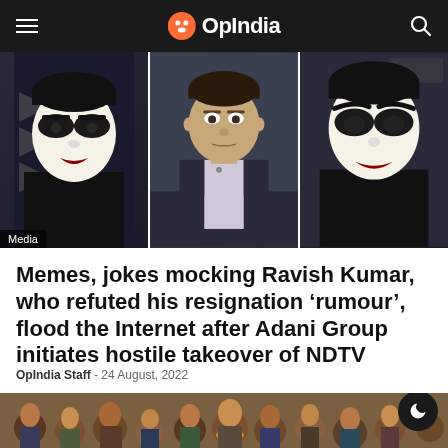OpIndia
[Figure (photo): Three-panel image: two panels showing a person in mime/clown makeup (white face, heavy black eye makeup, dark lipstick) flanking a center panel of a male TV news anchor in a suit sitting at a news desk. A 'Media' label is visible in the bottom-left corner.]
Memes, jokes mocking Ravish Kumar, who refuted his resignation 'rumour', flood the Internet after Adani Group initiates hostile takeover of NDTV
OpIndia Staff - 24 August, 2022
[Figure (photo): Photo of a group of men in a crowd, some wearing garlands, taken at what appears to be a gathering or celebration.]